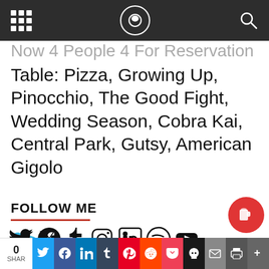Navigation bar with grid, logo, and search icons
Table: Pizza, Growing Up, Pinocchio, The Good Fight, Wedding Season, Cobra Kai, Central Park, Gutsy, American Gigolo
FOLLOW ME
[Figure (infographic): Social media icons row: Twitter, Facebook, Tumblr, Instagram, LinkedIn, Spotify, YouTube]
[Figure (infographic): Buy Me a Beer button in red/coral color with beer cup icon]
Thank you for visiting. You can now buy me a coffee!
0 SHAR | Share buttons: Twitter, Facebook, LinkedIn, Tumblr, Pinterest, Reddit, Pocket, Skull, Mail, Print, More